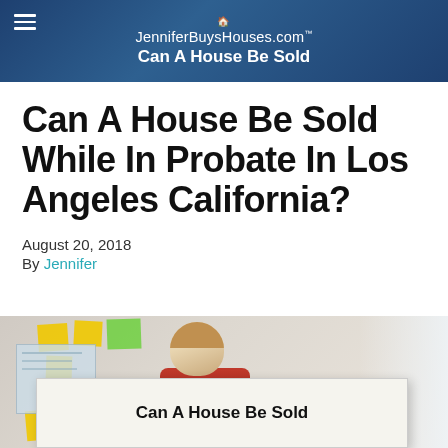JenniferBuysHouses.com™ Can A House Be Sold
Can A House Be Sold While In Probate In Los Angeles California?
August 20, 2018
By Jennifer
[Figure (photo): Woman in red top holding a large document/blueprint in an office with sticky notes on the wall, document reads 'Can A House Be Sold']